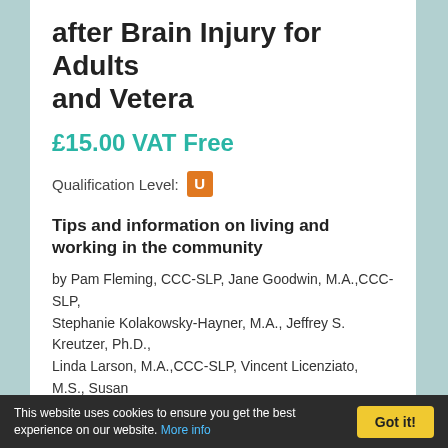after Brain Injury for Adults and Vetera
£15.00 VAT Free
Qualification Level: U
Tips and information on living and working in the community
by Pam Fleming, CCC-SLP, Jane Goodwin, M.A.,CCC-SLP, Stephanie Kolakowsky-Hayner, M.A., Jeffrey S. Kreutzer, Ph.D., Linda Larson, M.A.,CCC-SLP, Vincent Licenziato, M.S., Susan Mirgon, M.A., Erika Mountz, O.T.R./L., Carolyn Rocchio,
This website uses cookies to ensure you get the best experience on our website. More info  Got it!